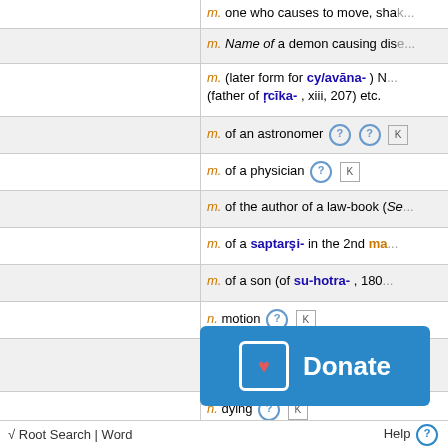m. one who causes to move, shak...
m. Name of a demon causing dise...
m. (later form for cy/avāna-) N... (father of ṛcīka-, xiii, 207) etc.
m. of an astronomer
m. of a physician
m. of the author of a law-book (Se...
m. of a saptarṣi- in the 2nd ma...
m. of a son (of su-hotra-, 180...
n. motion
n. the being deprived of (in compo...
n. dying
m. see dus-cyavana-...
[Figure (screenshot): Donate button overlay in blue with heart icon]
√ Root Search | Word    Help